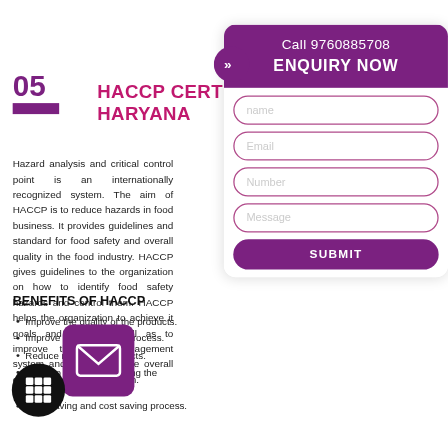05
HACCP CERTIFICATION IN HARYANA
Hazard analysis and critical control point is an internationally recognized system. The aim of HACCP is to reduce hazards in food business. It provides guidelines and standard for food safety and overall quality in the food industry. HACCP gives guidelines to the organization on how to identify food safety hazards and control them. HACCP helps the organization to achieve it goals and aims as well as to improve the food management system and to maintain the overall quality management system.
BENEFITS OF HACCP
Improve the quality of the products.
Improve the production process.
Reduce risk of food defects.
Develop team work among the employees.
Time saving and cost saving process.
Call 9760885708
ENQUIRY NOW